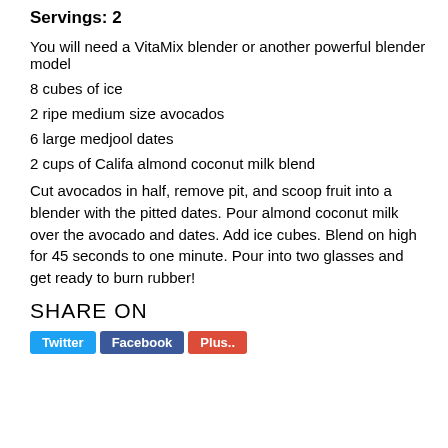Servings: 2
You will need a VitaMix blender or another powerful blender model
8 cubes of ice
2 ripe medium size avocados
6 large medjool dates
2 cups of Califa almond coconut milk blend
Cut avocados in half, remove pit, and scoop fruit into a blender with the pitted dates. Pour almond coconut milk over the avocado and dates. Add ice cubes. Blend on high for 45 seconds to one minute. Pour into two glasses and get ready to burn rubber!
SHARE ON
[Figure (other): Social share buttons: Twitter (blue), Facebook (dark blue), and a red button (partially visible)]